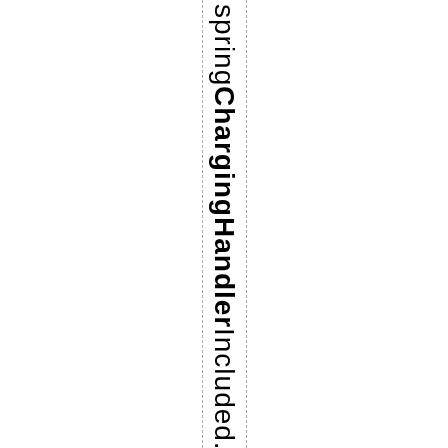springChargingHandlerIncluded.